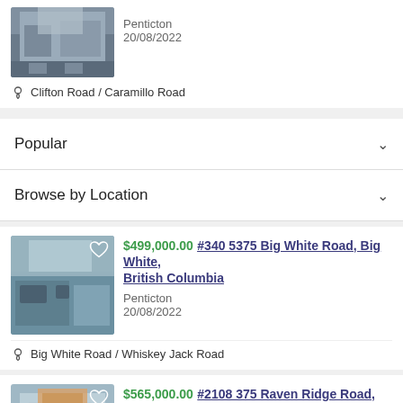[Figure (photo): Exterior photo of a multi-story residential building with trees]
Penticton
20/08/2022
Clifton Road / Caramillo Road
Popular
Browse by Location
[Figure (photo): Interior photo of a living room with blue sofa and large windows]
$499,000.00 #340 5375 Big White Road, Big White, British Columbia
Penticton
20/08/2022
Big White Road / Whiskey Jack Road
[Figure (photo): Exterior photo of a large chalet-style building with wooden beams]
$565,000.00 #2108 375 Raven Ridge Road, Big White, British Columbia
Penticton